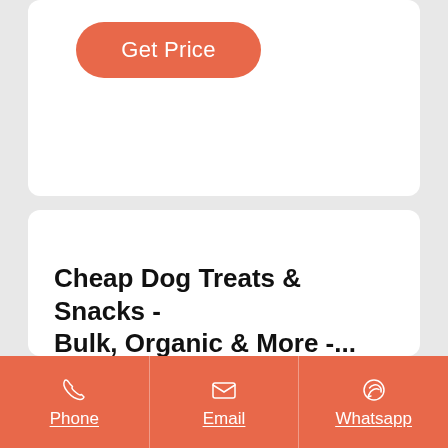[Figure (other): Get Price button — orange rounded rectangle with white text]
Cheap Dog Treats & Snacks - Bulk, Organic & More -...
Icelandic Plus Cod Fish Chips Dog Treat. $14.14. $17.39 Save: 19%. Icelandic+ Cod Fish Chips Dog Treat Icelandic+ Cod Fish Chips Dog Treats are the perfect way to treat your dog to a crunchy, all
Phone  Email  Whatsapp